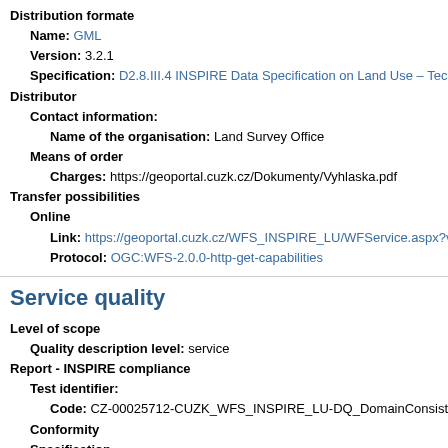Distribution formate
Name: GML
Version: 3.2.1
Specification: D2.8.III.4 INSPIRE Data Specification on Land Use – Tech
Distributor
Contact information:
Name of the organisation: Land Survey Office
Means of order
Charges: https://geoportal.cuzk.cz/Dokumenty/Vyhlaska.pdf
Transfer possibilities
Online
Link: https://geoportal.cuzk.cz/WFS_INSPIRE_LU/WFService.aspx?v
Protocol: OGC:WFS-2.0.0-http-get-capabilities
Service quality
Level of scope
Quality description level: service
Report - INSPIRE compliance
Test identifier:
Code: CZ-00025712-CUZK_WFS_INSPIRE_LU-DQ_DomainConsist
Conformity
Specification
Source name: Nařízení Komise (ES) č. 976/2009 ze dne 19. října 20